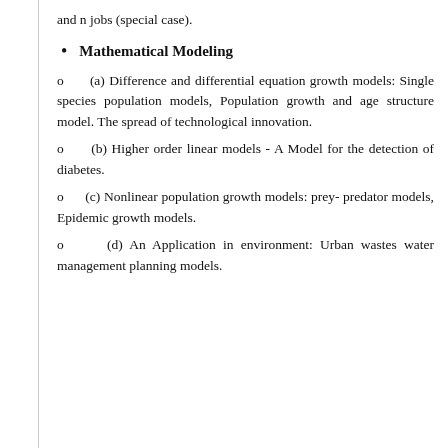and n jobs (special case).
Mathematical Modeling
o    (a) Difference and differential equation growth models: Single species population models, Population growth and age structure model. The spread of technological innovation.
o    (b) Higher order linear models - A Model for the detection of diabetes.
o    (c) Nonlinear population growth models: prey- predator models, Epidemic growth models.
o    (d) An Application in environment: Urban wastes water management planning models.